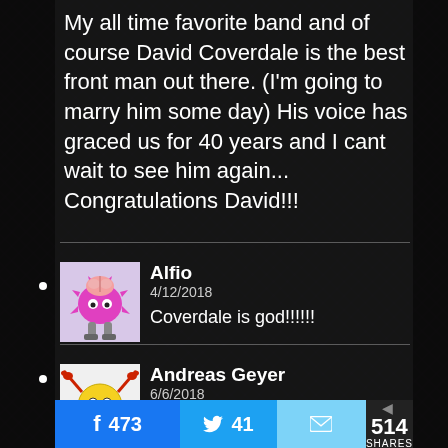My all time favorite band and of course David Coverdale is the best front man out there. (I'm going to marry him some day) His voice has graced us for 40 years and I cant wait to see him again... Congratulations David!!!
[Figure (illustration): Avatar of user Alfio — cartoon pink blob monster with brain visible on top, metal legs, on light purple background]
Alfio
4/12/2018

Coverdale is god!!!!!!
[Figure (illustration): Avatar of user Andreas Geyer — cartoon yellow round character with red crab claws/antennae on white/light background]
Andreas Geyer
6/6/2018
473
41
514 SHARES